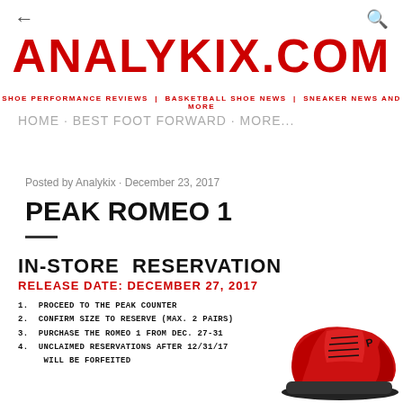← ANALYKIX.COM | SHOE PERFORMANCE REVIEWS | BASKETBALL SHOE NEWS | SNEAKER NEWS AND MORE | HOME · BEST FOOT FORWARD · MORE...
ANALYKIX.COM
SHOE PERFORMANCE REVIEWS | BASKETBALL SHOE NEWS | SNEAKER NEWS AND MORE
HOME · BEST FOOT FORWARD · MORE...
Posted by Analykix · December 23, 2017
PEAK ROMEO 1
[Figure (infographic): In-store reservation flyer for Peak Romeo 1. Release Date: December 27, 2017. Instructions: 1. Proceed to the Peak counter. 2. Confirm size to reserve (max. 2 pairs). 3. Purchase the Romeo 1 from Dec. 27-31. 4. Unclaimed reservations after 12/31/17 will be forfeited. Image of red Peak Romeo 1 shoe on the right.]